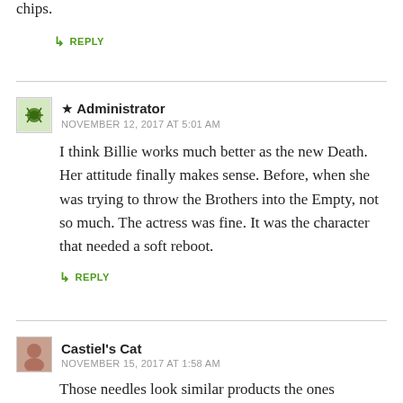chips.
↳ REPLY
★ Administrator
NOVEMBER 12, 2017 AT 5:01 AM
I think Billie works much better as the new Death. Her attitude finally makes sense. Before, when she was trying to throw the Brothers into the Empty, not so much. The actress was fine. It was the character that needed a soft reboot.
↳ REPLY
Castiel's Cat
NOVEMBER 15, 2017 AT 1:58 AM
Those needles look similar products the ones